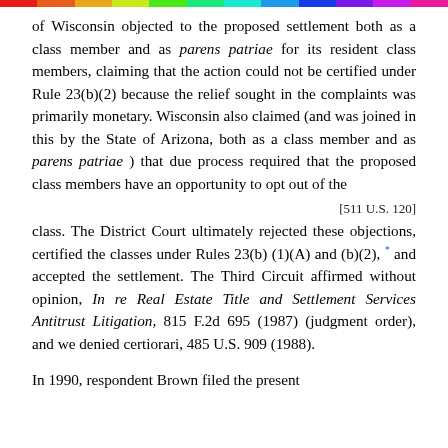of Wisconsin objected to the proposed settlement both as a class member and as parens patriae for its resident class members, claiming that the action could not be certified under Rule 23(b)(2) because the relief sought in the complaints was primarily monetary. Wisconsin also claimed (and was joined in this by the State of Arizona, both as a class member and as parens patriae ) that due process required that the proposed class members have an opportunity to opt out of the
[511 U.S. 120]
class. The District Court ultimately rejected these objections, certified the classes under Rules 23(b)(1)(A) and (b)(2), * and accepted the settlement. The Third Circuit affirmed without opinion, In re Real Estate Title and Settlement Services Antitrust Litigation, 815 F.2d 695 (1987) (judgment order), and we denied certiorari, 485 U.S. 909 (1988).
In 1990, respondent Brown filed the present